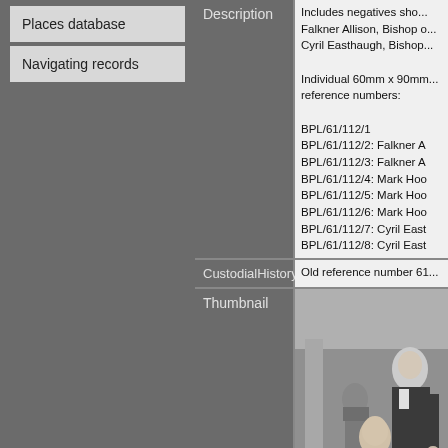Places database
Navigating records
Description
Includes negatives showing Falkner Allison, Bishop of... Cyril Easthaugh, Bishop... Individual 60mm x 90mm... reference numbers: BPL/61/112/1 BPL/61/112/2: Falkner A BPL/61/112/3: Falkner A BPL/61/112/4: Mark Hoo BPL/61/112/5: Mark Hoo BPL/61/112/6: Mark Hoo BPL/61/112/7: Cyril East BPL/61/112/8: Cyril East
CustodialHistory
Old reference number 61...
Thumbnail
[Figure (photo): Black and white photograph showing two men in clerical/academic robes, one seated signing a document, one standing beside him; a third man visible in the background.]